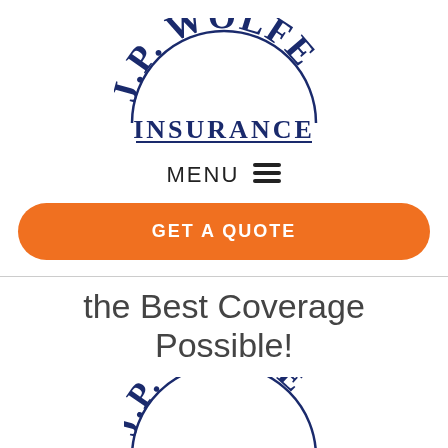[Figure (logo): J.P. Wolfe Insurance Inc. logo in dark navy blue serif script lettering]
MENU ☰
GET A QUOTE
the Best Coverage Possible!
[Figure (logo): J.P. Wolfe Insurance logo (partial, bottom of page)]